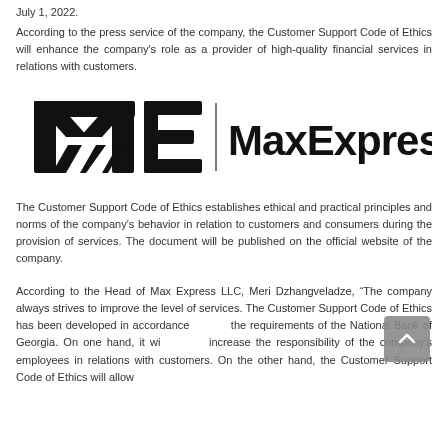July 1, 2022.
According to the press service of the company, the Customer Support Code of Ethics will enhance the company’s role as a provider of high-quality financial services in relations with customers.
[Figure (logo): MaxExpress company logo — stylized ME monogram with horizontal lines on the left, vertical divider, and bold 'MaxExpress' text on the right]
The Customer Support Code of Ethics establishes ethical and practical principles and norms of the company's behavior in relation to customers and consumers during the provision of services. The document will be published on the official website of the company.
According to the Head of Max Express LLC, Meri Dzhangveladze, “The company always strives to improve the level of services. The Customer Support Code of Ethics has been developed in accordance with the requirements of the National Bank of Georgia. On one hand, it will increase the responsibility of the company's employees in relations with customers. On the other hand, the Customer Support Code of Ethics will allow